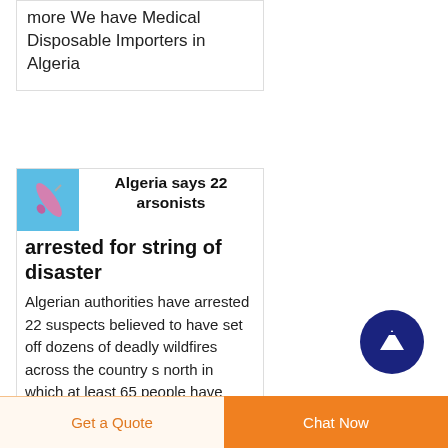more We have Medical Disposable Importers in Algeria
[Figure (photo): Small blue background thumbnail with a medical disposable item (pink/purple tube/syringe)]
Algeria says 22 arsonists arrested for string of disaster
Algerian authorities have arrested 22 suspects believed to have set off dozens of deadly wildfires across the country s north in which at least 65 people have perished as soldiers and first responders race to battle the
[Figure (illustration): Dark navy blue circular scroll-to-top button with white upward arrow]
Get a Quote
Chat Now